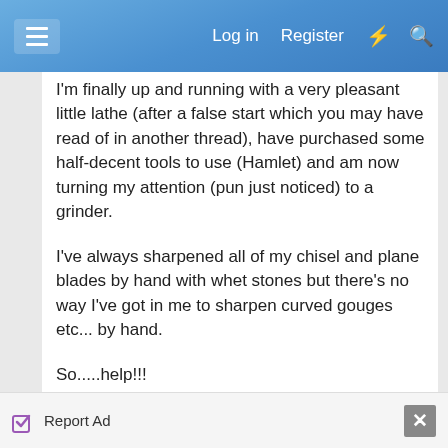Log in  Register
I'm finally up and running with a very pleasant little lathe (after a false start which you may have read of in another thread), have purchased some half-decent tools to use (Hamlet) and am now turning my attention (pun just noticed) to a grinder.
I've always sharpened all of my chisel and plane blades by hand with whet stones but there's no way I've got in me to sharpen curved gouges etc... by hand.
So.....help!!!
What do I need to get? I'd very much like to not spend a lot of money (as I've not got a lot of money to spend) but equally I don't want to buy cheap, buy twice.
Report Ad